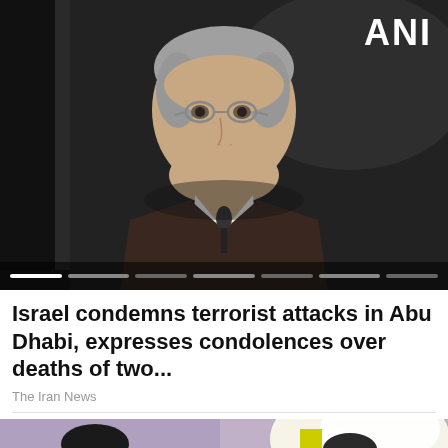[Figure (photo): Video thumbnail showing a middle-aged man with gray hair and glasses, wearing a dark jacket, speaking with a microphone. ANI logo visible in top right corner. Video progress bar at bottom. Dark background.]
Israel condemns terrorist attacks in Abu Dhabi, expresses condolences over deaths of two...
The Iran News